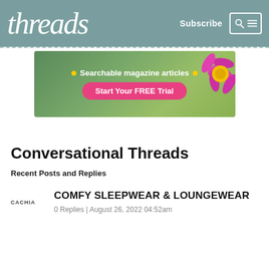threads
[Figure (screenshot): Threads magazine website header with logo, Subscribe link, search and menu icons on teal background]
[Figure (infographic): Banner advertisement: Searchable magazine articles. Start Your FREE Trial button. Pink flower on green background.]
Conversational Threads
Recent Posts and Replies
CACHIA
COMFY SLEEPWEAR & LOUNGEWEAR
0 Replies | August 26, 2022 04:52am